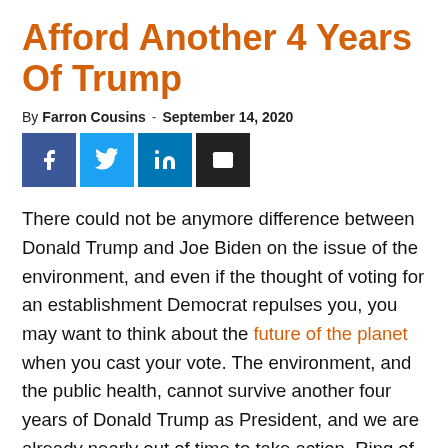Afford Another 4 Years Of Trump
By Farron Cousins - September 14, 2020
[Figure (other): Social media share buttons: Facebook, Twitter, LinkedIn, Email]
There could not be anymore difference between Donald Trump and Joe Biden on the issue of the environment, and even if the thought of voting for an establishment Democrat repulses you, you may want to think about the future of the planet when you cast your vote. The environment, and the public health, cannot survive another four years of Donald Trump as President, and we are already nearly out of time to take action. Ring of Fire's Farron Cousins discusses this.